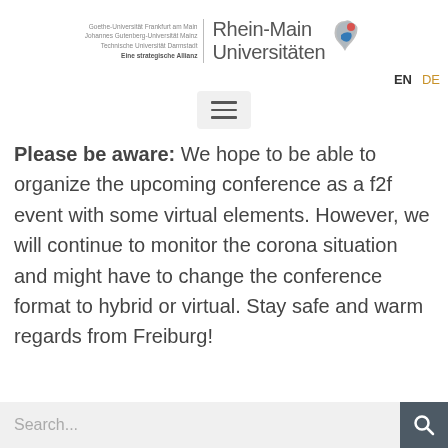[Figure (logo): Rhein-Main Universitäten logo with three university names on the left and stylized map icon on the right]
EN  DE
[Figure (other): Hamburger menu button (three horizontal lines) in a light grey rounded rectangle]
Please be aware: We hope to be able to organize the upcoming conference as a f2f event with some virtual elements. However, we will continue to monitor the corona situation and might have to change the conference format to hybrid or virtual. Stay safe and warm regards from Freiburg!
Search...